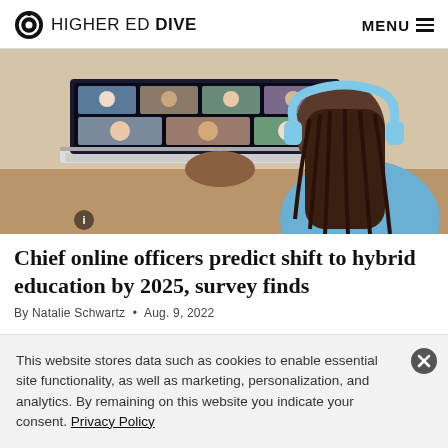HIGHER ED DIVE | MENU
[Figure (photo): A young woman with braided hair and blue headphones sitting at a desk using a laptop showing a video conference with multiple participants.]
Chief online officers predict shift to hybrid education by 2025, survey finds
By Natalie Schwartz • Aug. 9, 2022
This website stores data such as cookies to enable essential site functionality, as well as marketing, personalization, and analytics. By remaining on this website you indicate your consent. Privacy Policy